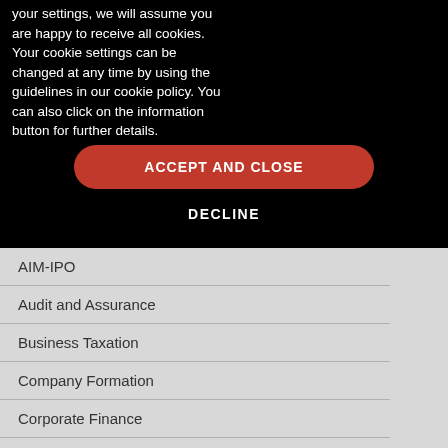your settings, we will assume you are happy to receive all cookies. Your cookie settings can be changed at any time by using the guidelines in our cookie policy. You can also click on the information button for further details.
ACCEPT AND CLOSE
DECLINE
AIM-IPO
Audit and Assurance
Business Taxation
Company Formation
Corporate Finance
Cross Border & Offshore
Disposals
Directors Investment